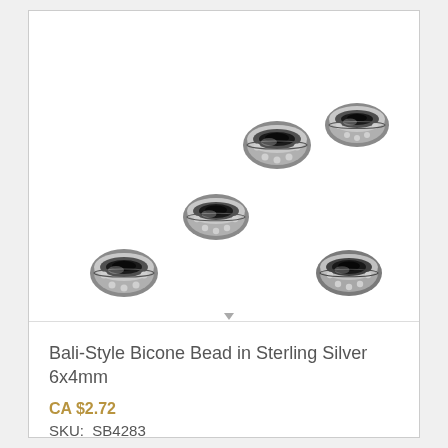[Figure (photo): Five sterling silver Bali-style bicone beads arranged loosely on a white background. Each bead is disc-shaped with decorative granulation and a central hole, shown from a slightly angled top view. The beads are oxidized silver with dot and ring ornamentation.]
Bali-Style Bicone Bead in Sterling Silver 6x4mm
CA $2.72
SKU:  SB4283